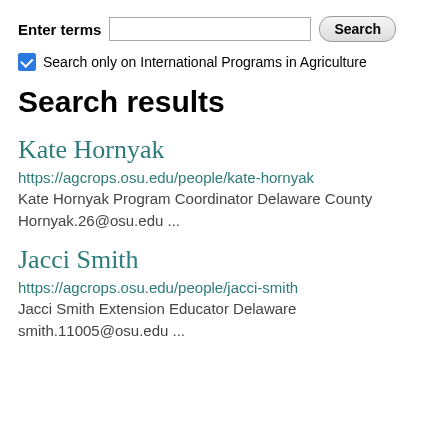Enter terms [input field] Search
Search only on International Programs in Agriculture
Search results
Kate Hornyak
https://agcrops.osu.edu/people/kate-hornyak
Kate Hornyak Program Coordinator Delaware County Hornyak.26@osu.edu ...
Jacci Smith
https://agcrops.osu.edu/people/jacci-smith
Jacci Smith Extension Educator Delaware smith.11005@osu.edu ...